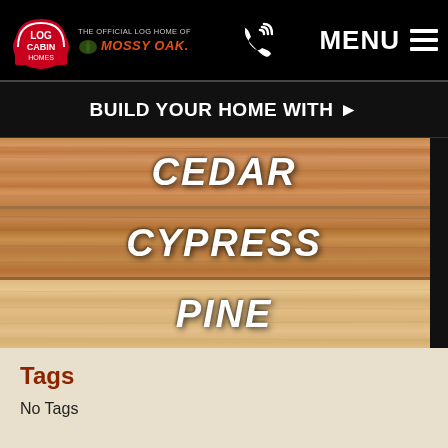Log Cabin Homes — The Official Log Home of Mossy Oak — MENU
BUILD YOUR HOME WITH ▶
CEDAR
CYPRESS
PINE
Tags
No Tags